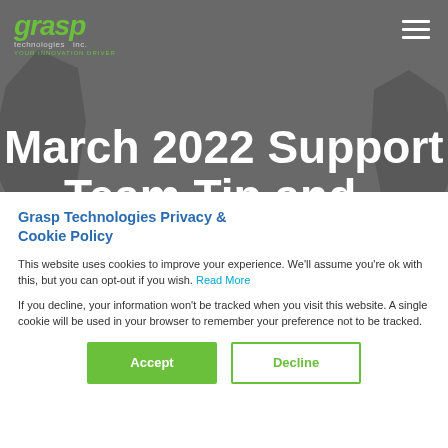[Figure (photo): Grasp Technologies website header with logo, hamburger menu, and hero background of hands in grayscale with text 'March 2022 Support Team Tip and']
March 2022 Support Team Tip and
Grasp Technologies Privacy & Cookie Policy
This website uses cookies to improve your experience. We'll assume you're ok with this, but you can opt-out if you wish. Read More
If you decline, your information won't be tracked when you visit this website. A single cookie will be used in your browser to remember your preference not to be tracked.